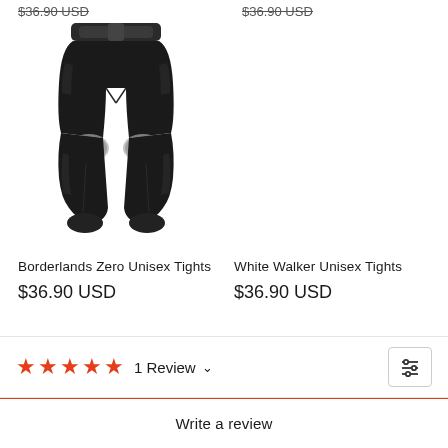$36.90 USD (strikethrough, top left)
$36.90 USD (strikethrough, top right)
[Figure (photo): Black Borderlands Zero Unisex Tights product photo showing full-length compression tights with knee cutouts on white background]
Borderlands Zero Unisex Tights
$36.90 USD
White Walker Unisex Tights
$36.90 USD
★★★★★ 1 Review ∨
Write a review